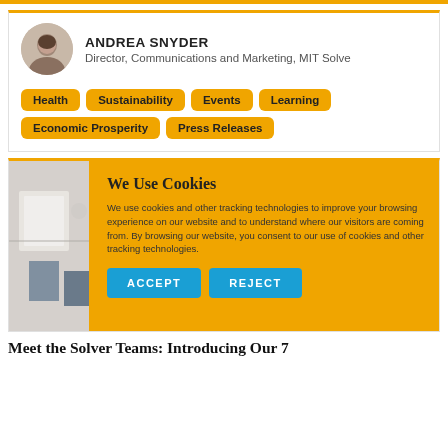[Figure (photo): Circular portrait photo of Andrea Snyder]
ANDREA SNYDER
Director, Communications and Marketing, MIT Solve
Health
Sustainability
Events
Learning
Economic Prosperity
Press Releases
[Figure (photo): Partial image of a room/workspace behind cookie consent overlay]
We Use Cookies

We use cookies and other tracking technologies to improve your browsing experience on our website and to understand where our visitors are coming from. By browsing our website, you consent to our use of cookies and other tracking technologies.
ACCEPT
REJECT
Meet the Solver Teams: Introducing Our 7